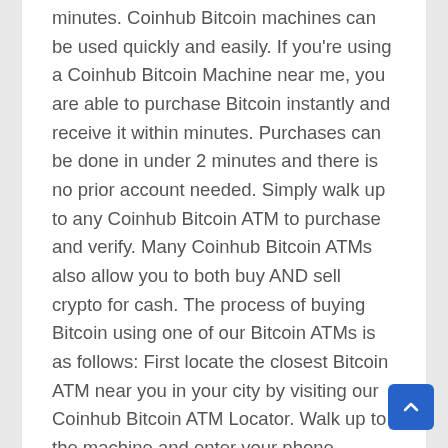minutes. Coinhub Bitcoin machines can be used quickly and easily. If you're using a Coinhub Bitcoin Machine near me, you are able to purchase Bitcoin instantly and receive it within minutes. Purchases can be done in under 2 minutes and there is no prior account needed. Simply walk up to any Coinhub Bitcoin ATM to purchase and verify. Many Coinhub Bitcoin ATMs also allow you to both buy AND sell crypto for cash. The process of buying Bitcoin using one of our Bitcoin ATMs is as follows: First locate the closest Bitcoin ATM near you in your city by visiting our Coinhub Bitcoin ATM Locator. Walk up to the machine and enter your phone number. You will then verify your phone with a code and scan your bitcoin wallet. Enter bills one bill at a time for the amount you would like to purchase and confirm the bitcoin atm prior to purchase. Bitcoin is then instantly sent to your wallet. The daily limit for buying Bitcoin is $25,000. We have